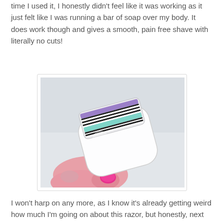time I used it, I honestly didn't feel like it was working as it just felt like I was running a bar of soap over my body. It does work though and gives a smooth, pain free shave with literally no cuts!
[Figure (photo): A hand with pink nail polish holding a white electric razor/shaver with a multi-stripe blade head featuring purple, teal, and black/white stripes, on a light background.]
I won't harp on any more, as I know it's already getting weird how much I'm going on about this razor, but honestly, next